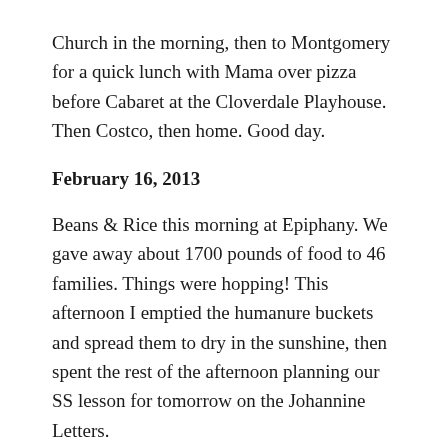Church in the morning, then to Montgomery for a quick lunch with Mama over pizza before Cabaret at the Cloverdale Playhouse. Then Costco, then home. Good day.
February 16, 2013
Beans & Rice this morning at Epiphany. We gave away about 1700 pounds of food to 46 families. Things were hopping! This afternoon I emptied the humanure buckets and spread them to dry in the sunshine, then spent the rest of the afternoon planning our SS lesson for tomorrow on the Johannine Letters.
February 17, 2013